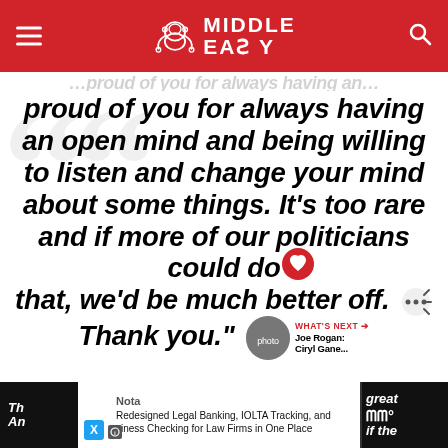MIDDLE EASY
[faded partial text at top]
proud of you for always having an open mind and being willing to listen and change your mind about some things. It’s too rare and if more of our politicians could do that, we’d be much better off. Thank you.”
WHAT’S NEXT → Joe Rogan: Ciryl Gane...
Nota
Redesigned Legal Banking, IOLTA Tracking, and Business Checking for Law Firms in One Place